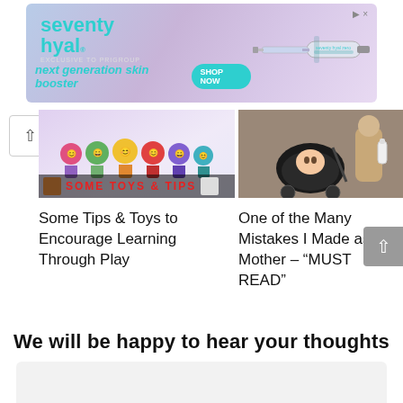[Figure (other): Advertisement banner for 'seventy hyal' skin booster product with syringe image and 'SHOP NOW' button]
[Figure (photo): Image of colorful flower-shaped children's toys with text 'SOME TOYS & TIPS']
[Figure (photo): Image of a baby in a stroller with a woman holding a bottle nearby]
Some Tips & Toys to Encourage Learning Through Play
One of the Many Mistakes I Made as a Mother – “MUST READ”
We will be happy to hear your thoughts